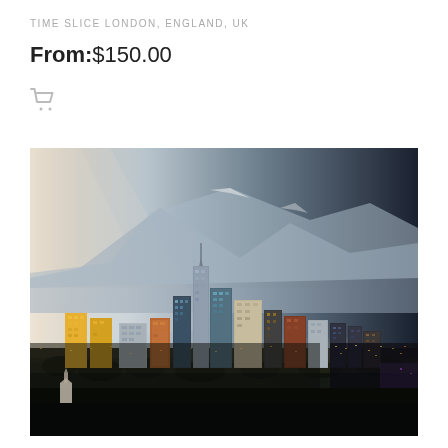TIME SLICE LONDON, ENGLAND, UK
From: $150.00
[Figure (photo): Time slice cityscape photograph showing a city skyline (Los Angeles) with skyscrapers, transitioning from warm daylight on the left to dark night sky on the right, with mountains visible in the background.]